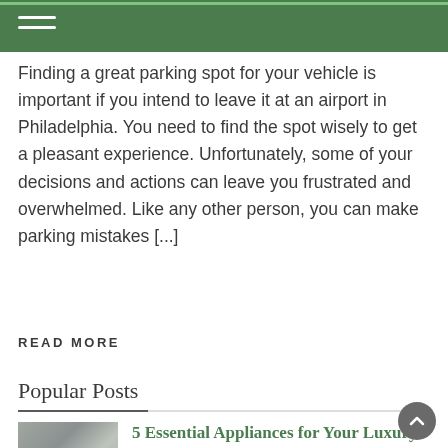Finding a great parking spot for your vehicle is important if you intend to leave it at an airport in Philadelphia. You need to find the spot wisely to get a pleasant experience. Unfortunately, some of your decisions and actions can leave you frustrated and overwhelmed. Like any other person, you can make parking mistakes [...]
READ MORE
Popular Posts
5 Essential Appliances for Your Luxury Home